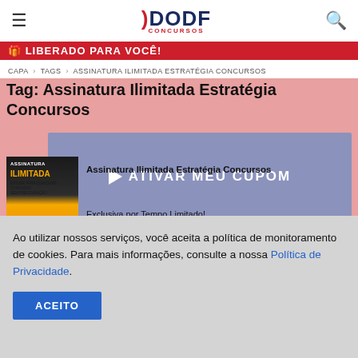DODF CONCURSOS
🎁 LIBERADO PARA VOCÊ!
CAPA › TAGS › ASSINATURA ILIMITADA ESTRATÉGIA CONCURSOS
Tag: Assinatura Ilimitada Estratégia Concursos
[Figure (screenshot): Blue overlay card with play button and text ATIVAR MEU CUPOM, overlapping a book cover image for Assinatura Ilimitada]
Assinatura Ilimitada Estratégia Concursos
Exclusiva por Tempo Limitado!
ÚLTIMAS NOTÍCIAS
Ao utilizar nossos serviços, você aceita a política de monitoramento de cookies. Para mais informações, consulte a nossa Política de Privacidade.
ACEITO